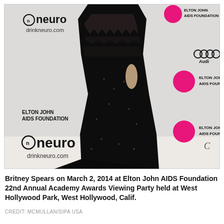[Figure (photo): Britney Spears wearing a black sequined gown with geometric stripe pattern and long train, standing in front of a step-and-repeat backdrop featuring logos for Elton John AIDS Foundation, neuro/drinkneuro.com, American Airlines, and Audi.]
Britney Spears on March 2, 2014 at Elton John AIDS Foundation 22nd Annual Academy Awards Viewing Party held at West Hollywood Park, West Hollywood, Calif.
CREDIT: MCMULLAN/SIPA USA